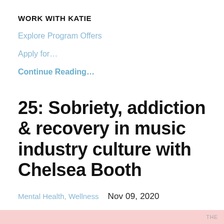WORK WITH KATIE
Explore Program Offers
Apply for…
Continue Reading…
25: Sobriety, addiction & recovery in music industry culture with Chelsea Booth
Mental Health, Wellness   Nov 09, 2020